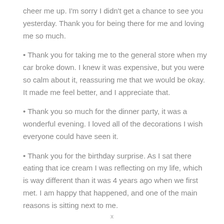cheer me up. I'm sorry I didn't get a chance to see you yesterday. Thank you for being there for me and loving me so much.
• Thank you for taking me to the general store when my car broke down. I knew it was expensive, but you were so calm about it, reassuring me that we would be okay. It made me feel better, and I appreciate that.
• Thank you so much for the dinner party, it was a wonderful evening. I loved all of the decorations I wish everyone could have seen it.
• Thank you for the birthday surprise. As I sat there eating that ice cream I was reflecting on my life, which is way different than it was 4 years ago when we first met. I am happy that happened, and one of the main reasons is sitting next to me.
x